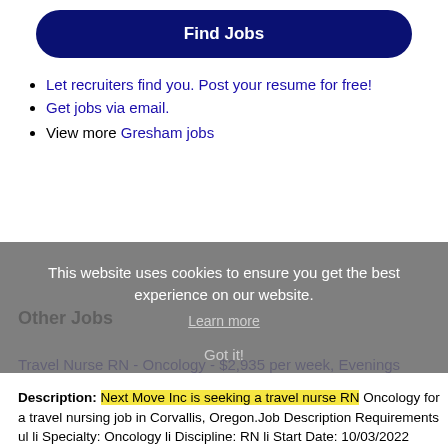[Figure (other): Dark navy blue 'Find Jobs' button with rounded corners]
Let recruiters find you. Post your resume for free!
Get jobs via email.
View more Gresham jobs
This website uses cookies to ensure you get the best experience on our website.
Learn more
Other Jobs
Got it!
Travel Nurse RN - Oncology - $2,935 per week, Evenings
Description: Next Move Inc is seeking a travel nurse RN Oncology for a travel nursing job in Corvallis, Oregon.Job Description Requirements ul li Specialty: Oncology li Discipline: RN li Start Date: 10/03/2022 (more...)